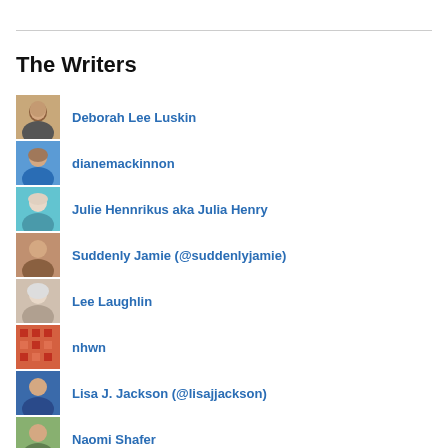The Writers
Deborah Lee Luskin
dianemackinnon
Julie Hennrikus aka Julia Henry
Suddenly Jamie (@suddenlyjamie)
Lee Laughlin
nhwn
Lisa J. Jackson (@lisajjackson)
Naomi Shafer
susannye
Wendy E. N. Thomas